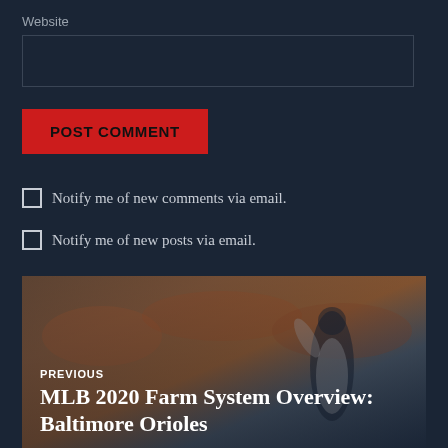Website
POST COMMENT
Notify me of new comments via email.
Notify me of new posts via email.
[Figure (photo): Baseball player (Baltimore Orioles) raising arm, crowd in background with orange and navy colors, blurred background]
PREVIOUS
MLB 2020 Farm System Overview: Baltimore Orioles